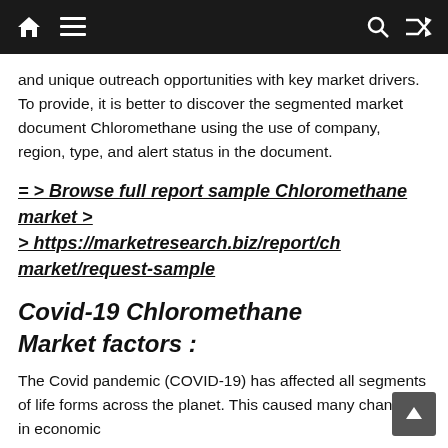[Navigation bar with home, menu, search, and shuffle icons]
and unique outreach opportunities with key market drivers. To provide, it is better to discover the segmented market document Chloromethane using the use of company, region, type, and alert status in the document.
= > Browse full report sample Chloromethane market > > https://marketresearch.biz/report/ch market/request-sample
Covid-19 Chloromethane Market factors :
The Covid pandemic (COVID-19) has affected all segments of life forms across the planet. This caused many changes in economic